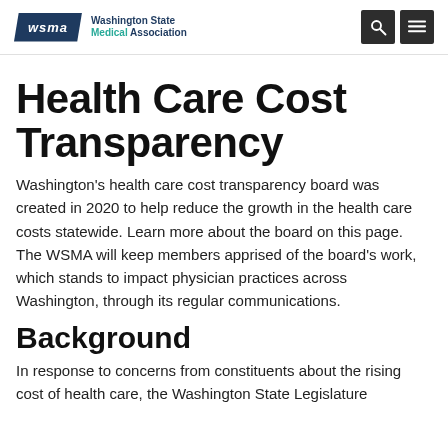WSMA Washington State Medical Association
Health Care Cost Transparency
Washington's health care cost transparency board was created in 2020 to help reduce the growth in the health care costs statewide. Learn more about the board on this page. The WSMA will keep members apprised of the board's work, which stands to impact physician practices across Washington, through its regular communications.
Background
In response to concerns from constituents about the rising cost of health care, the Washington State Legislature